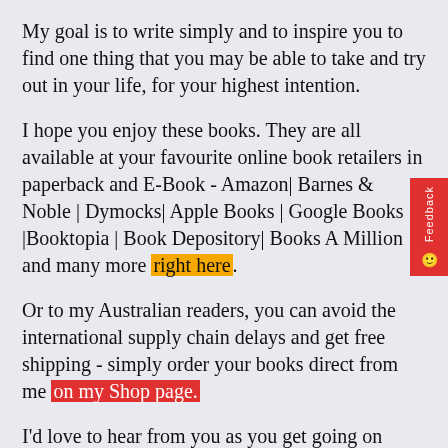My goal is to write simply and to inspire you to find one thing that you may be able to take and try out in your life, for your highest intention.
I hope you enjoy these books. They are all available at your favourite online book retailers in paperback and E-Book - Amazon| Barnes & Noble | Dymocks| Apple Books | Google Books |Booktopia | Book Depository| Books A Million and many more right here.
Or to my Australian readers, you can avoid the international supply chain delays and get free shipping - simply order your books direct from me on my Shop page.
I'd love to hear from you as you get going on your...